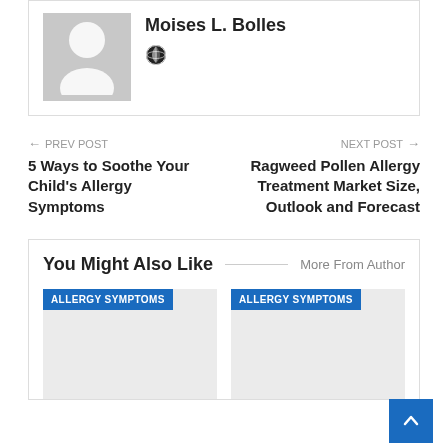[Figure (illustration): Author avatar placeholder silhouette with gray background]
Moises L. Bolles
[Figure (illustration): Globe icon]
← PREV POST
5 Ways to Soothe Your Child's Allergy Symptoms
NEXT POST →
Ragweed Pollen Allergy Treatment Market Size, Outlook and Forecast
You Might Also Like
More From Author
ALLERGY SYMPTOMS
ALLERGY SYMPTOMS